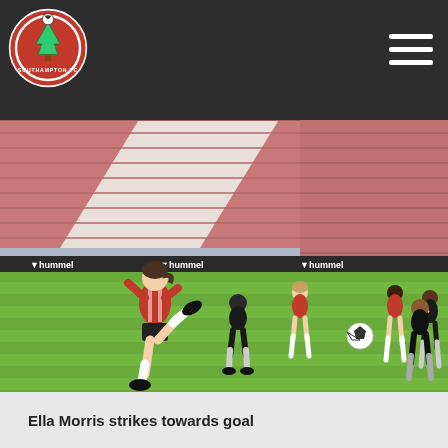[Figure (logo): Southampton FC crest logo - red and white circular badge with a tree and football]
[Figure (other): Hamburger/menu icon with three horizontal white lines on dark background]
[Figure (photo): Women's football match photo: Ella Morris in red and white Southampton FC kit striking towards goal, with teammates and opponents in black kit visible, empty stadium seats in background]
Ella Morris strikes towards goal